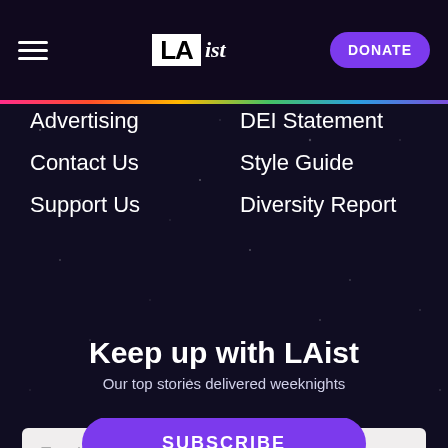LAist — DONATE
Advertising
Contact Us
Support Us
DEI Statement
Style Guide
Diversity Report
Keep up with LAist
Our top stories delivered weeknights
Email
SUBSCRIBE